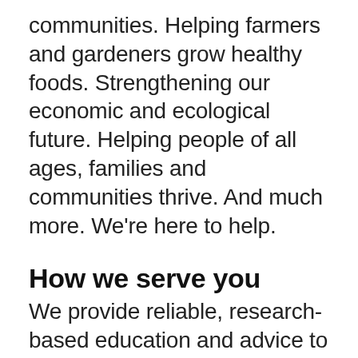communities. Helping farmers and gardeners grow healthy foods. Strengthening our economic and ecological future. Helping people of all ages, families and communities thrive. And much more. We're here to help.
How we serve you
We provide reliable, research-based education and advice to help you make informed decisions. Access is affordable—often free. Learn through one-on-one conversations with experts, workshops,